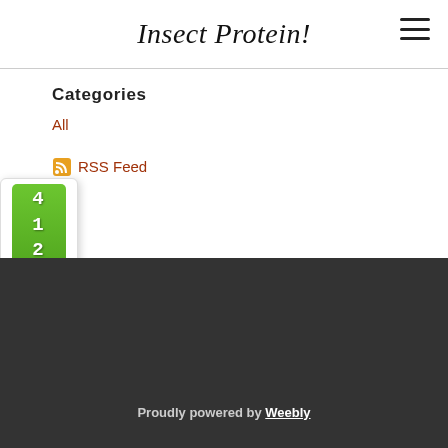Insect Protein!
Categories
All
RSS Feed
Proudly powered by Weebly